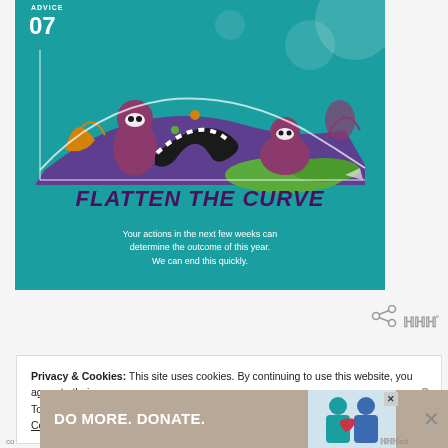[Figure (illustration): Teal/turquoise illustrated infographic card labeled 'ADVICE 07' with 'FLATTEN THE CURVE' title (in dark purple italic bold text) and subtitle 'Your actions in the next few weeks can determine the outcome of this year. We can end this quickly.' Features illustrated animals (lemurs/raccoons) and plants in a stylized nature scene with decorative circles in background.]
Privacy & Cookies: This site uses cookies. By continuing to use this website, you agree to their use. To find out more, including how to control cookies, see here: Cookie Policy
[Figure (infographic): Advertisement banner: 'DO MORE. DONATE.' with an image of two figures (one in teal hijab, one in blue clothing) with a heart graphic. Has close/dismiss buttons.]